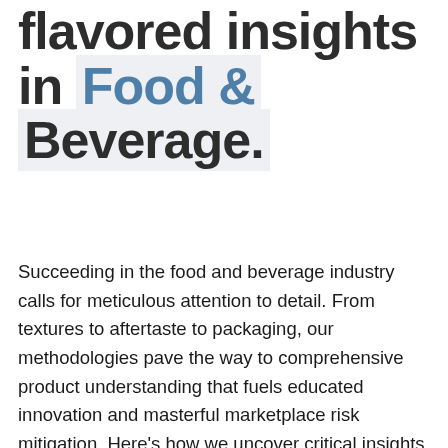flavored insights in Food & Beverage.
Succeeding in the food and beverage industry calls for meticulous attention to detail. From textures to aftertaste to packaging, our methodologies pave the way to comprehensive product understanding that fuels educated innovation and masterful marketplace risk mitigation. Here's how we uncover critical insights F&B products.